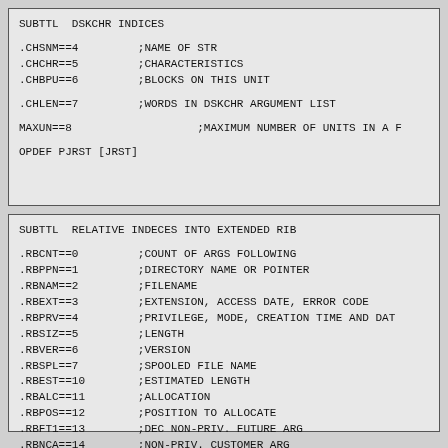SUBTTL  DSKCHR INDICES

.CHSNM==4         ;NAME OF STR
.CHCHR==5         ;CHARACTERISTICS
.CHBPU==6         ;BLOCKS ON THIS UNIT

.CHLEN==7         ;WORDS IN DSKCHR ARGUMENT LIST

MAXUN==8                   ;MAXIMUM NUMBER OF UNITS IN A F

OPDEF PJRST [JRST]
SUBTTL  RELATIVE INDECES INTO EXTENDED RIB

.RBCNT==0         ;COUNT OF ARGS FOLLOWING
.RBPPN==1         ;DIRECTORY NAME OR POINTER
.RBNAM==2         ;FILENAME
.RBEXT==3         ;EXTENSION, ACCESS DATE, ERROR CODE
.RBPRV==4         ;PRIVILEGE, MODE, CREATION TIME AND DAT
.RBSIZ==5         ;LENGTH
.RBVER==6         ;VERSION
.RBSPL==7         ;SPOOLED FILE NAME
.RBEST==10        ;ESTIMATED LENGTH
.RBALC==11        ;ALLOCATION
.RBPOS==12        ;POSITION TO ALLOCATE
.RBFT1==13        ;DEC NON-PRIV. FUTURE ARG
.RBNCA==14        ;NON-PRIV. CUSTOMER ARG
.RBMTA==15        ;TAPE LABEL